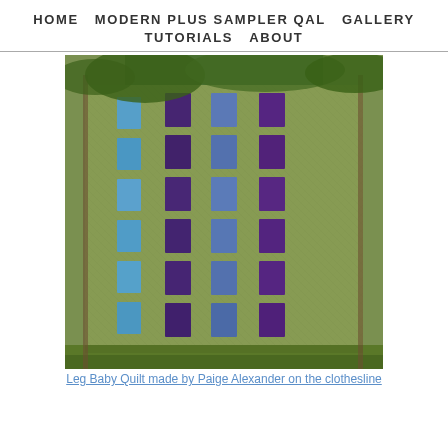HOME   MODERN PLUS SAMPLER QAL   GALLERY   TUTORIALS   ABOUT
[Figure (photo): A quilt with a green background fabric and columns of blue and purple rectangular patches hanging outdoors on a clothesline or fence, with trees and grass visible behind it.]
Leg Baby Quilt made by Paige Alexander on the clothesline